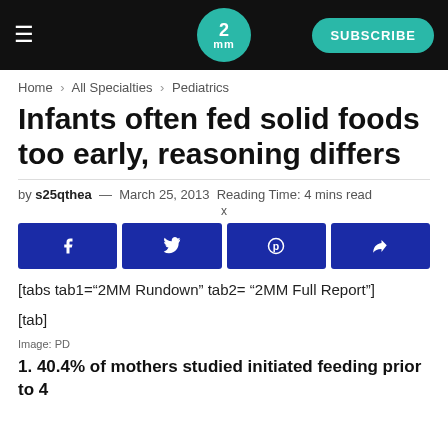2mm | SUBSCRIBE
Home > All Specialties > Pediatrics
Infants often fed solid foods too early, reasoning differs
by s25qthea — March 25, 2013  Reading Time: 4 mins read
[Figure (other): Social sharing buttons: Facebook, Twitter, Pinterest, Share]
[tabs tab1="2MM Rundown" tab2= "2MM Full Report"]
[tab]
Image: PD
1. 40.4% of mothers studied initiated feeding prior to 4